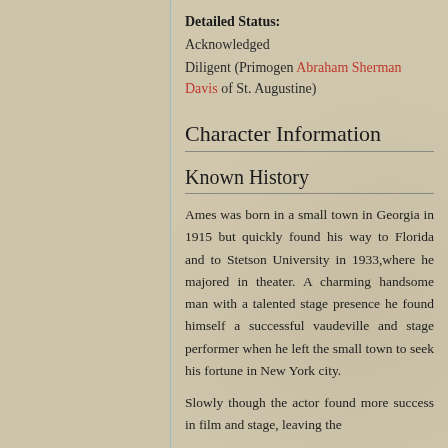Detailed Status:
Acknowledged
Diligent (Primogen Abraham Sherman Davis of St. Augustine)
Character Information
Known History
Ames was born in a small town in Georgia in 1915 but quickly found his way to Florida and to Stetson University in 1933,where he majored in theater. A charming handsome man with a talented stage presence he found himself a successful vaudeville and stage performer when he left the small town to seek his fortune in New York city.
Slowly though the actor found more success in film and stage, leaving the